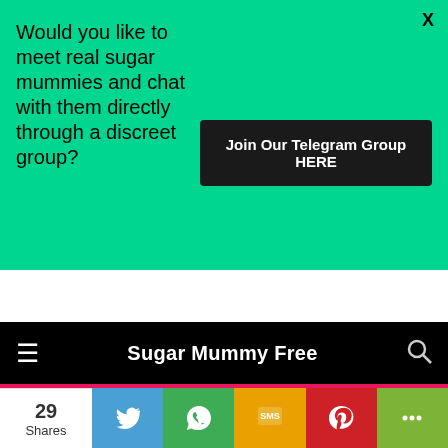[Figure (infographic): Green advertisement banner with close button (X), text asking to meet real sugar mummies and chat through a discreet group, and a dark 'Join Our Telegram Group HERE' button]
Sugar Mummy Free
Are You Interested In This Sugar Mummy? – Don't Miss Out!
29 Shares